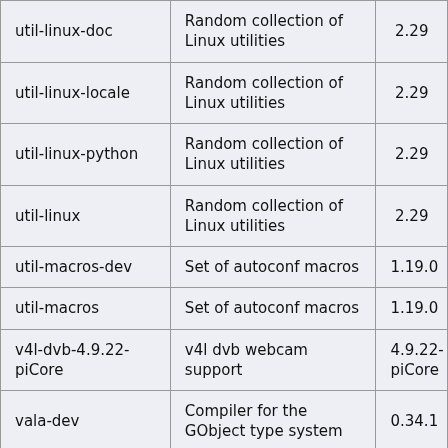| util-linux-doc | Random collection of Linux utilities | 2.29 |
| util-linux-locale | Random collection of Linux utilities | 2.29 |
| util-linux-python | Random collection of Linux utilities | 2.29 |
| util-linux | Random collection of Linux utilities | 2.29 |
| util-macros-dev | Set of autoconf macros | 1.19.0 |
| util-macros | Set of autoconf macros | 1.19.0 |
| v4l-dvb-4.9.22-piCore | v4l dvb webcam support | 4.9.22-piCore |
| vala-dev | Compiler for the GObject type system | 0.34.1 |